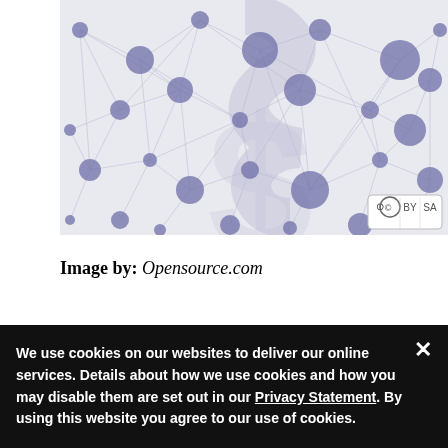[Figure (illustration): Network graph illustration showing interconnected nodes (circles) of varying sizes connected by lines, forming a dollar sign shape in the center. Blue/purple nodes on a light background. Creative Commons license badge in bottom-right corner.]
Image by: Opensource.com
When I founded PrestaShop seven years ago, I had a singular vision for the company: to create a worldwide community of talented individuals to share the power of open source...
We use cookies on our websites to deliver our online services. Details about how we use cookies and how you may disable them are set out in our Privacy Statement. By using this website you agree to our use of cookies.